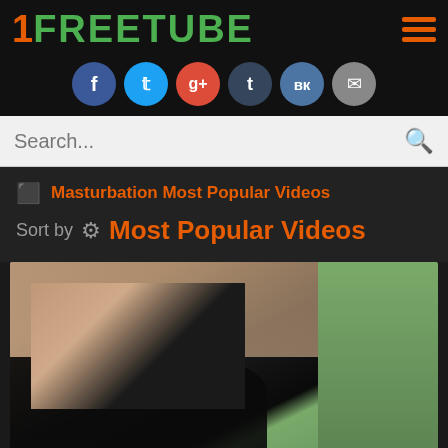1FREETUBE
[Figure (screenshot): Social media share icons: Facebook, Twitter, Google+, Tumblr, VK, Email]
Search...
Masturbation Most Popular Videos
Sort by ⚙ Most Popular Videos
[Figure (photo): Video thumbnail showing outdoor scene]